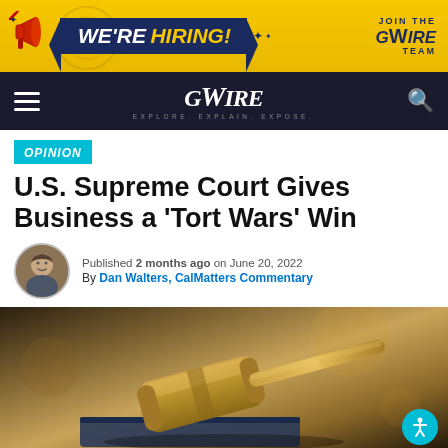[Figure (screenshot): We're Hiring! banner advertisement for GVWire team in yellow and navy blue]
[Figure (screenshot): GVWire navigation bar with hamburger menu, GVWire logo, and search icon on dark background]
OPINION
U.S. Supreme Court Gives Business a 'Tort Wars' Win
Published 2 months ago on June 20, 2022
By Dan Walters, CalMatters Commentary
[Figure (photo): Close-up photo of a wooden judge's gavel resting on a law book, blurred background]